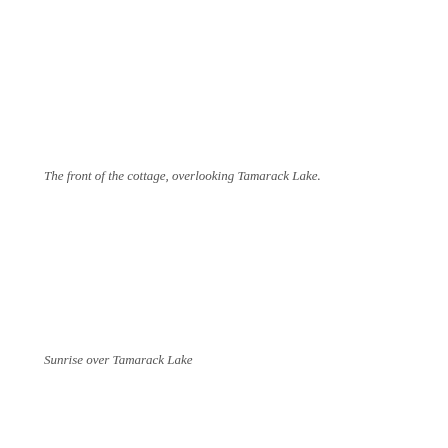The front of the cottage, overlooking Tamarack Lake.
Sunrise over Tamarack Lake